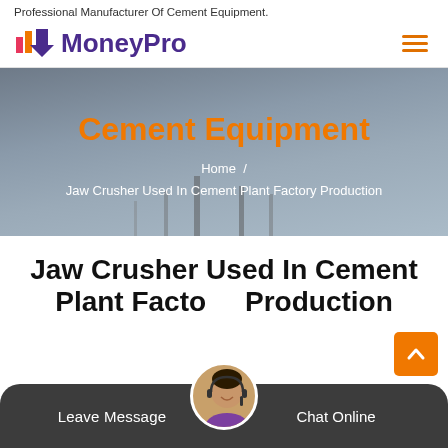Professional Manufacturer Of Cement Equipment.
[Figure (logo): MoneyPro logo with colorful bar chart icon and purple bold text 'MoneyPro']
[Figure (photo): Industrial cement plant hero banner with gray sky background and tower silhouettes]
Cement Equipment
Home / Jaw Crusher Used In Cement Plant Factory Production
Jaw Crusher Used In Cement Plant Factory Production
[Figure (photo): Customer service agent avatar photo - woman wearing headset]
Leave Message   Chat Online